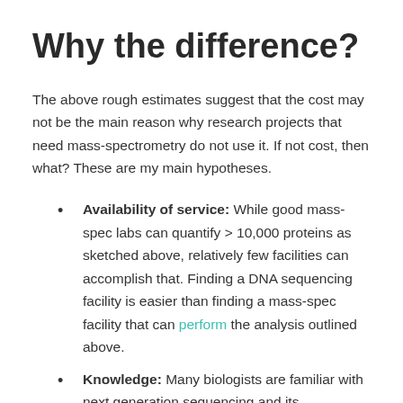Why the difference?
The above rough estimates suggest that the cost may not be the main reason why research projects that need mass-spectrometry do not use it. If not cost, then what? These are my main hypotheses.
Availability of service: While good mass-spec labs can quantify > 10,000 proteins as sketched above, relatively few facilities can accomplish that. Finding a DNA sequencing facility is easier than finding a mass-spec facility that can perform the analysis outlined above.
Knowledge: Many biologists are familiar with next generation sequencing and its capabilities